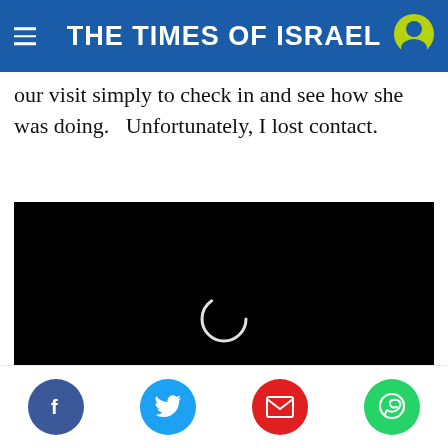THE TIMES OF ISRAEL
our visit simply to check in and see how she was doing.   Unfortunately, I lost contact.
[Figure (screenshot): Black video player with a loading spinner circle in the center, representing an embedded video that is loading.]
Share buttons: Facebook, Twitter, Email, WhatsApp